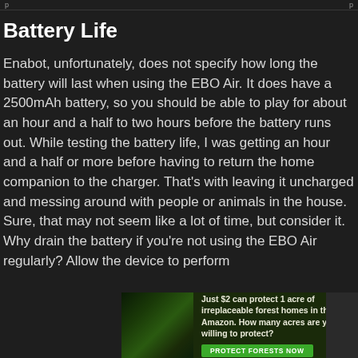Battery Life
Enabot, unfortunately, does not specify how long the battery will last when using the EBO Air. It does have a 2500mAh battery, so you should be able to play for about an hour and a half to two hours before the battery runs out. While testing the battery life, I was getting an hour and a half or more before having to return the home companion to the charger. That’s with leaving it uncharged and messing around with people or animals in the house. Sure, that may not seem like a lot of time, but consider it. Why drain the battery if you’re not using the EBO Air regularly? Allow the device to perform
[Figure (infographic): Advertisement banner: 'Just $2 can protect 1 acre of irreplaceable forest homes in the Amazon. How many acres are you willing to protect?' with a green 'PROTECT FORESTS NOW' button, forest background image on the left.]